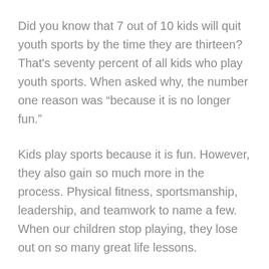Did you know that 7 out of 10 kids will quit youth sports by the time they are thirteen? That's seventy percent of all kids who play youth sports. When asked why, the number one reason was “because it is no longer fun.”
Kids play sports because it is fun. However, they also gain so much more in the process. Physical fitness, sportsmanship, leadership, and teamwork to name a few. When our children stop playing, they lose out on so many great life lessons.
So why do sports stop being fun? According to kids, it's us; well meaning coaches and parents.